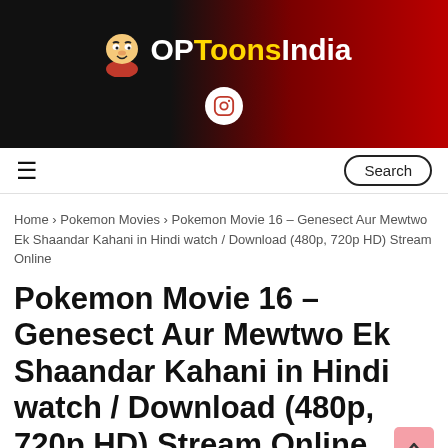OPToonsIndia
Home > Pokemon Movies > Pokemon Movie 16 – Genesect Aur Mewtwo Ek Shaandar Kahani in Hindi watch / Download (480p, 720p HD) Stream Online
Pokemon Movie 16 – Genesect Aur Mewtwo Ek Shaandar Kahani in Hindi watch / Download (480p, 720p HD) Stream Online